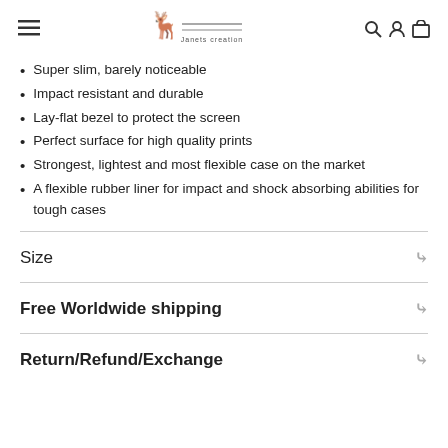≡ [logo] 🔍 👤 🛒
Super slim, barely noticeable
Impact resistant and durable
Lay-flat bezel to protect the screen
Perfect surface for high quality prints
Strongest, lightest and most flexible case on the market
A flexible rubber liner for impact and shock absorbing abilities for tough cases
Size
Free Worldwide shipping
Return/Refund/Exchange